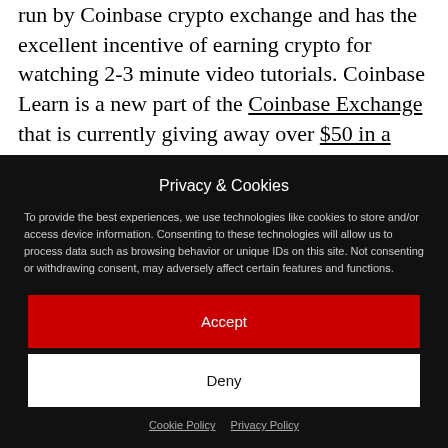run by Coinbase crypto exchange and has the excellent incentive of earning crypto for watching 2-3 minute video tutorials. Coinbase Learn is a new part of the Coinbase Exchange that is currently giving away over $50 in a variety of cryptos when you watch their short guides and take quick and easy one-question quizzes.
Privacy & Cookies
To provide the best experiences, we use technologies like cookies to store and/or access device information. Consenting to these technologies will allow us to process data such as browsing behavior or unique IDs on this site. Not consenting or withdrawing consent, may adversely affect certain features and functions.
Accept
Deny
Cookie Policy   Privacy Policy